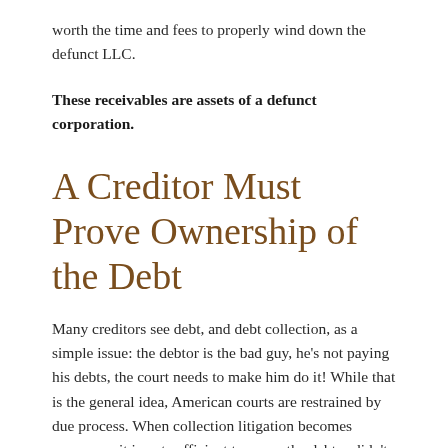worth the time and fees to properly wind down the defunct LLC.
These receivables are assets of a defunct corporation.
A Creditor Must Prove Ownership of the Debt
Many creditors see debt, and debt collection, as a simple issue: the debtor is the bad guy, he’s not paying his debts, the court needs to make him do it! While that is the general idea, American courts are restrained by due process. When collection litigation becomes necessary, it is not sufficient to prove the debtor didn’t pay: you must prove that the money